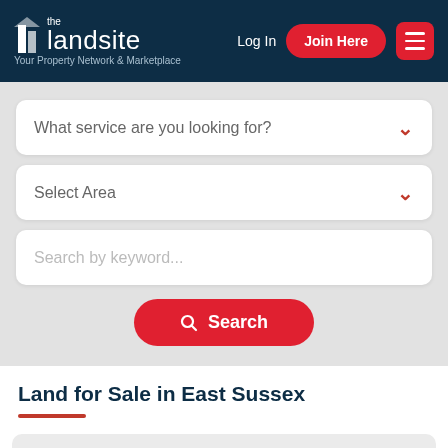the landsite — Your Property Network & Marketplace | Log In | Join Here
[Figure (screenshot): Search form with dropdowns for service and area, keyword search field, and Search button]
Land for Sale in East Sussex
Connecting the world of professional